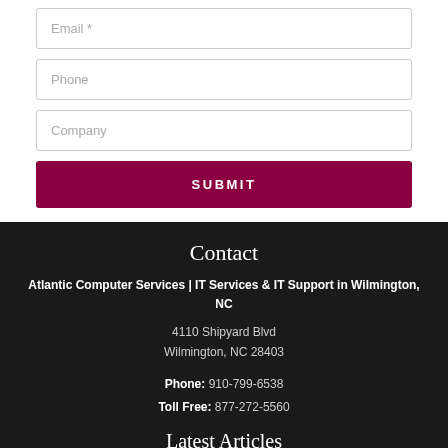[Figure (other): Web form with Email, Phone, Company input fields and a SUBMIT button]
Contact
Atlantic Computer Services | IT Services & IT Support in Wilmington, NC
4110 Shipyard Blvd
Wilmington, NC 28403
Phone: 910-799-6538
Toll Free: 877-272-5560
Latest Articles